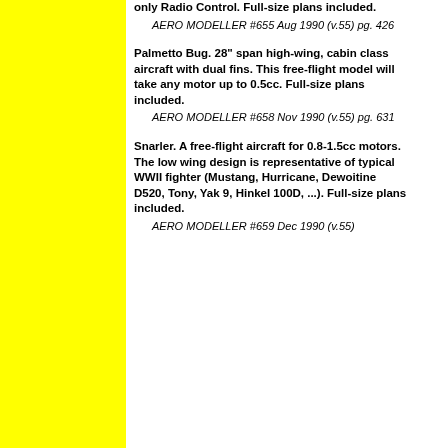[Figure (other): Yellow vertical bar on the left side of the page]
only Radio Control. Full-size plans included. AERO MODELLER #655 Aug 1990 (v.55) pg. 426
Palmetto Bug. 28" span high-wing, cabin class aircraft with dual fins. This free-flight model will take any motor up to 0.5cc. Full-size plans included. AERO MODELLER #658 Nov 1990 (v.55) pg. 631
Snarler. A free-flight aircraft for 0.8-1.5cc motors. The low wing design is representative of typical WWII fighter (Mustang, Hurricane, Dewoitine D520, Tony, Yak 9, Hinkel 100D, ...). Full-size plans included. AERO MODELLER #659 Dec 1990 (v.55)